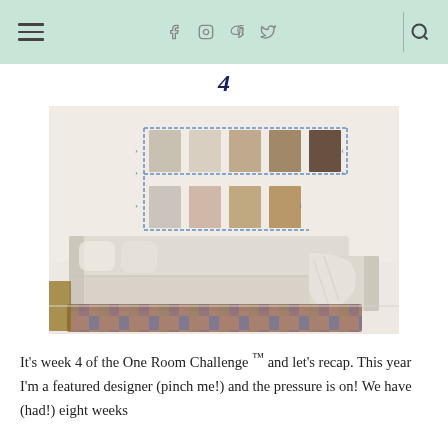Navigation header with hamburger menu, social icons (f, camera, p, twitter), and search icon
4
[Figure (photo): A living room with a large light beige sectional sofa, a patterned vintage rug on the floor, and a collection of paint color swatches taped to the white wall behind the sofa in a grid arrangement.]
It's week 4 of the One Room Challenge ™ and let's recap. This year I'm a featured designer (pinch me!) and the pressure is on! We have (had!) eight weeks